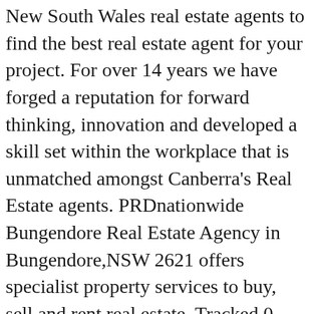New South Wales real estate agents to find the best real estate agent for your project. For over 14 years we have forged a reputation for forward thinking, innovation and developed a skill set within the workplace that is unmatched amongst Canberra's Real Estate agents. PRDnationwide Bungendore Real Estate Agency in Bungendore,NSW 2621 offers specialist property services to buy, sell and rent real estate. Tracked 0 properties. See the top reviewed local real estate agents in Bungendore... The average real estate agent commission rate is 2.30%. 8 check-ins. Marketing Agent Gilbert Real Estate - BUNGENDORE. This business servicing Bungendore is a local SME in the Real Estate Agents category. View real estate agents at Gilbert Real Estate Bungendore (Sutton Real Estate) on RateMyAgent and compare by most recommended or